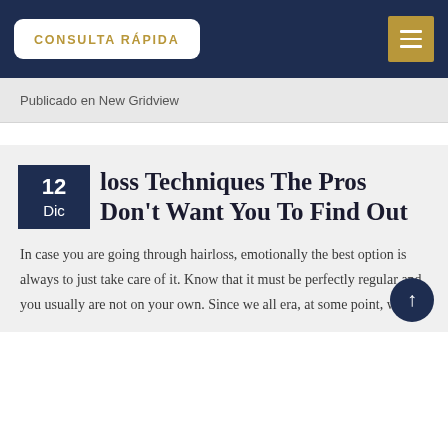CONSULTA RÁPIDA
Publicado en New Gridview
loss Techniques The Pros Don't Want You To Find Out
In case you are going through hairloss, emotionally the best option is always to just take care of it. Know that it must be perfectly regular and you usually are not on your own. Since we all era, at some point, we all